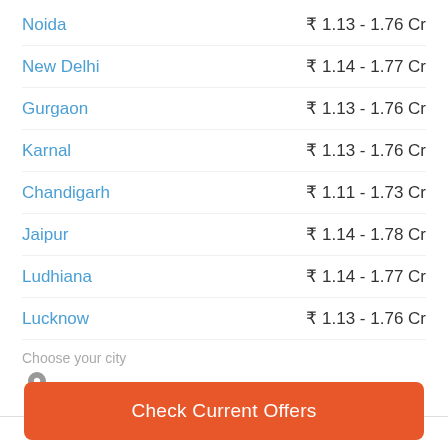Noida  ₹1.13 - 1.76 Cr
New Delhi  ₹1.14 - 1.77 Cr
Gurgaon  ₹1.13 - 1.76 Cr
Karnal  ₹1.13 - 1.76 Cr
Chandigarh  ₹1.11 - 1.73 Cr
Jaipur  ₹1.14 - 1.78 Cr
Ludhiana  ₹1.14 - 1.77 Cr
Lucknow  ₹1.13 - 1.76 Cr
Choose your city
Check Current Offers